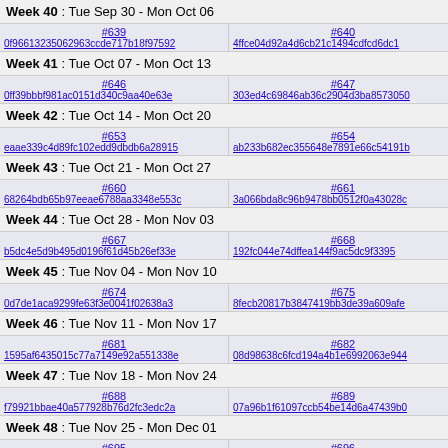Week 40 : Tue Sep 30 - Mon Oct 06
| #639 | #640 | #(truncated) |
| --- | --- | --- |
| 0f96613235062963ccde717b18f97592 | 4ffce04d92a4d6cb21c1494cdfcd6dc1 | 67e103b0761e606... |
Week 41 : Tue Oct 07 - Mon Oct 13
| #646 | #647 | #(truncated) |
| --- | --- | --- |
| 0ff39bbbf981ac0151d340c9aa40e63e | 303ed4c69846ab36c2904d3ba8573050 | 443cb001c138b2... |
Week 42 : Tue Oct 14 - Mon Oct 20
| #653 | #654 | #(truncated) |
| --- | --- | --- |
| eaae339c4d89fc102edd9dbdb6a28915 | ab233b682ec355648e7891e66c54191b | 3d2d8ccb37df97... |
Week 43 : Tue Oct 21 - Mon Oct 27
| #660 | #661 | #(truncated) |
| --- | --- | --- |
| 68264bdb65b97eeae6788aa3348e553c | 3a066bda8c96b9478bb0512f0a43028c | be3159ad04564... |
Week 44 : Tue Oct 28 - Mon Nov 03
| #667 | #668 | #6(truncated) |
| --- | --- | --- |
| b5dc4e5d9b495d0196f61d45b26ef33e | 192fc044e74dffea144f9ac5dc9f3395 | 5c04925674920eb5... |
Week 45 : Tue Nov 04 - Mon Nov 10
| #674 | #675 | #(truncated) |
| --- | --- | --- |
| 0d7de1aca9299fe63f3e0041f02638a3 | 8fecb20817b3847419bb3de39a609afe | dc6a70712a25212... |
Week 46 : Tue Nov 11 - Mon Nov 17
| #681 | #682 | #(truncated) |
| --- | --- | --- |
| 1595af6435015c77a7149e92a551338e | 08d98638c6fcd194a4b1e6992063e944 | 24681928425f5a... |
Week 47 : Tue Nov 18 - Mon Nov 24
| #688 | #689 | #(truncated) |
| --- | --- | --- |
| f79921bbae40a577928b76d2fc3edc2a | 07a96b1f61097ccb54be14d6a47439b0 | c06d06da9666a2... |
Week 48 : Tue Nov 25 - Mon Dec 01
| #695 | #696 | #6(truncated) |
| --- | --- | --- |
| e4bb4c5173c2ce17fd8fcd40041c068f | 0cb929eae7a499e50248a3a78f7acfc7 | 8a0e1141fd37fa5b... |
Week 49 : Tue Dec 02 - Mon Dec 08